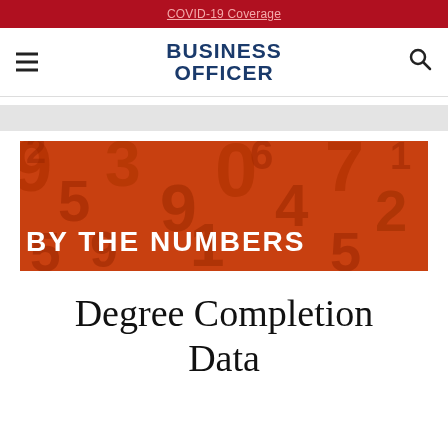COVID-19 Coverage
[Figure (logo): Business Officer magazine logo with hamburger menu and search icon]
[Figure (photo): Orange/red tinted photo of scattered large 3D numbers with white overlay text reading 'BY THE NUMBERS']
Degree Completion Data